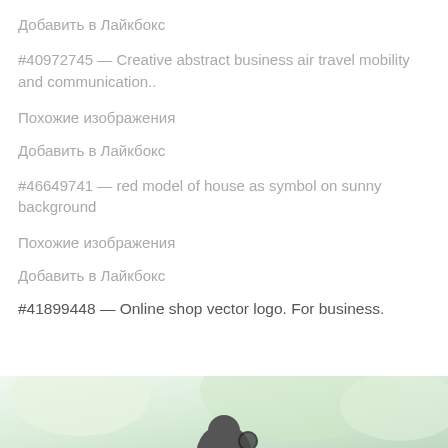Добавить в Лайкбокс
#40972745 — Creative abstract business air travel mobility and communication..
Похожие изображения
Добавить в Лайкбокс
#46649741 — red model of house as symbol on sunny background
Похожие изображения
Добавить в Лайкбокс
#41899448 — Online shop vector logo. For business.
[Figure (photo): Partial view of a person, cropped at bottom of page, with blurred green background]